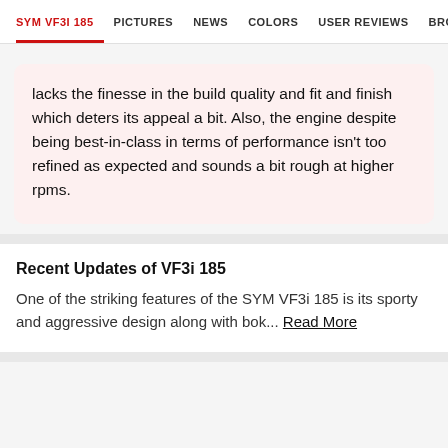SYM VF3I 185  PICTURES  NEWS  COLORS  USER REVIEWS  BROCHU
lacks the finesse in the build quality and fit and finish which deters its appeal a bit. Also, the engine despite being best-in-class in terms of performance isn't too refined as expected and sounds a bit rough at higher rpms.
Recent Updates of VF3i 185
One of the striking features of the SYM VF3i 185 is its sporty and aggressive design along with bok… Read More